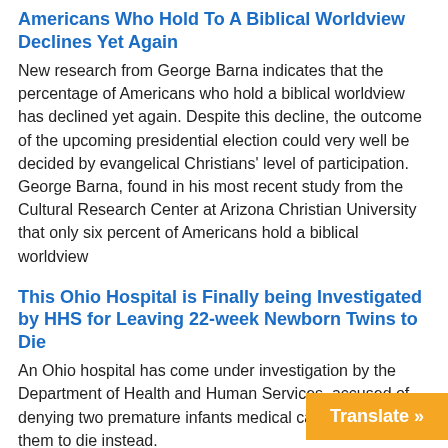Americans Who Hold To A Biblical Worldview Declines Yet Again
New research from George Barna indicates that the percentage of Americans who hold a biblical worldview has declined yet again. Despite this decline, the outcome of the upcoming presidential election could very well be decided by evangelical Christians' level of participation. George Barna, found in his most recent study from the Cultural Research Center at Arizona Christian University that only six percent of Americans hold a biblical worldview
This Ohio Hospital is Finally being Investigated by HHS for Leaving 22-week Newborn Twins to Die
An Ohio hospital has come under investigation by the Department of Health and Human Services, accused of denying two premature infants medical care, allowing them to die instead.
Pope turns down Pompeo meeting; Vatican warns US against politicizing China deal
Two officials for the Vatican announced We